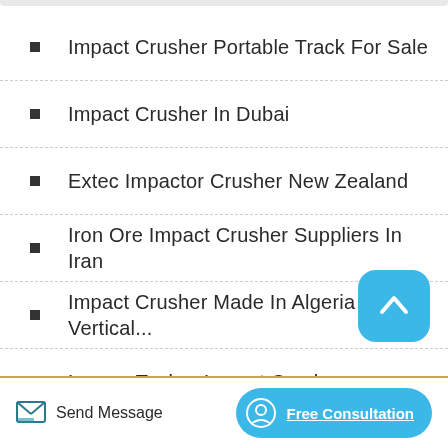Impact Crusher Portable Track For Sale
Impact Crusher In Dubai
Extec Impactor Crusher New Zealand
Iron Ore Impact Crusher Suppliers In Iran
Impact Crusher Made In Algeria With Vertical...
Larsen Toubro Impact Crusher